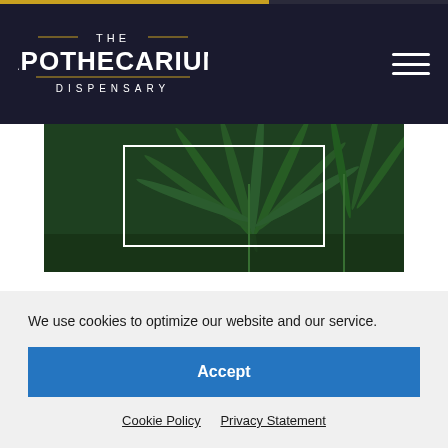The Apothecarium Dispensary
[Figure (photo): Close-up photo of cannabis/marijuana plant leaves with dark green color, with a white rectangle overlay/frame in the center]
Cannabis Case Study: Anxiety
Apr 22, 2021
Lindsey Marshall, PharmD being a / O years
We use cookies to optimize our website and our service.
Accept
Cookie Policy   Privacy Statement